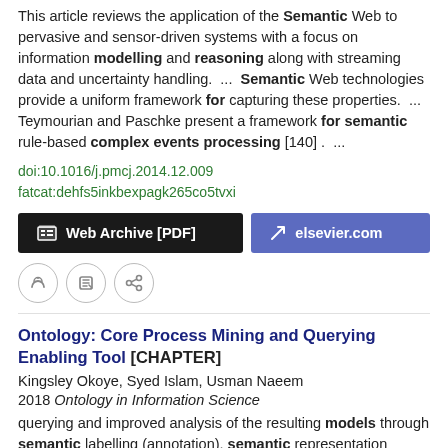This article reviews the application of the Semantic Web to pervasive and sensor-driven systems with a focus on information modelling and reasoning along with streaming data and uncertainty handling.  ...  Semantic Web technologies provide a uniform framework for capturing these properties.  ...  Teymourian and Paschke present a framework for semantic rule-based complex events processing [140] .  ...
doi:10.1016/j.pmcj.2014.12.009
fatcat:dehfs5inkbexpagk265co5tvxi
Web Archive [PDF]    elsevier.com
Ontology: Core Process Mining and Querying Enabling Tool [CHAPTER]
Kingsley Okoye, Syed Islam, Usman Naeem
2018 Ontology in Information Science
querying and improved analysis of the resulting models through semantic labelling (annotation), semantic representation (ontology) and semantic reasoning (reasoner).  ...  Indeed, such